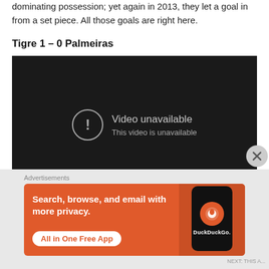dominating possession; yet again in 2013, they let a goal in from a set piece. All those goals are right here.
Tigre 1 – 0 Palmeiras
[Figure (screenshot): Embedded YouTube video player showing 'Video unavailable — This video is unavailable' error message on a dark background, with a YouTube play button icon in the bottom right corner.]
Advertisements
[Figure (screenshot): DuckDuckGo advertisement banner with orange background showing 'Search, browse, and email with more privacy. All in One Free App' with a phone graphic and DuckDuckGo logo.]